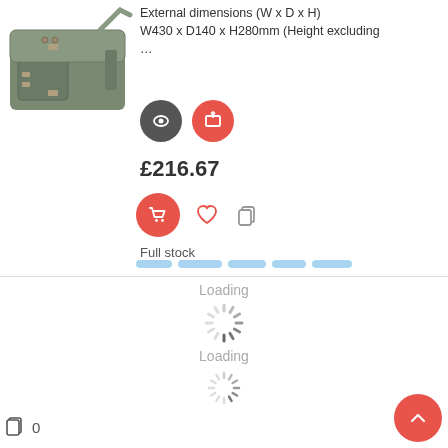[Figure (photo): Olive green camera bag / satchel product image]
External dimensions (W x D x H)
W430 x D140 x H280mm (Height excluding
...
[Figure (other): Two circular action buttons: dark gray eye/view button and red expand/share button]
£216.67
[Figure (other): Action row: red cart button, heart/wishlist icon, copy icon]
Full stock
[Figure (other): Skeleton loader bars (blue dashed rectangles)]
Loading
[Figure (other): Spinning loading indicator]
Loading
[Figure (other): Second spinning loading indicator]
[Figure (other): Cart badge with copy icon and 0 count at bottom left]
[Figure (other): Red scroll-to-top button with upward chevron at bottom right]